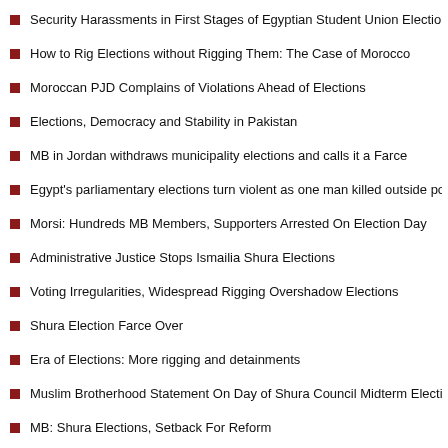Security Harassments in First Stages of Egyptian Student Union Elections
How to Rig Elections without Rigging Them: The Case of Morocco
Moroccan PJD Complains of Violations Ahead of Elections
Elections, Democracy and Stability in Pakistan
MB in Jordan withdraws municipality elections and calls it a Farce
Egypt's parliamentary elections turn violent as one man killed outside polling station
Morsi: Hundreds MB Members, Supporters Arrested On Election Day
Administrative Justice Stops Ismailia Shura Elections
Voting Irregularities, Widespread Rigging Overshadow Elections
Shura Election Farce Over
Era of Elections: More rigging and detainments
Muslim Brotherhood Statement On Day of Shura Council Midterm Elections June, 11
MB: Shura Elections, Setback For Reform
After Rigging Shura Elections, MB Candidates Speak Out
Egypt: Elections Rigging Videos, US Aid Cuts and A New Blog by Talented Movie Di…